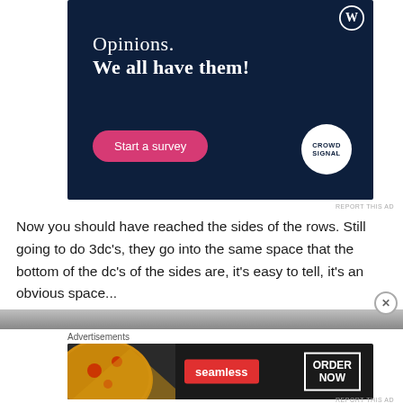[Figure (infographic): Dark navy blue advertisement banner for CrowdSignal/WordPress. Text reads 'Opinions. We all have them!' with a pink 'Start a survey' button and CrowdSignal logo circle on the right. WordPress logo in top right corner.]
Now you should have reached the sides of the rows. Still going to do 3dc's, they go into the same space that the bottom of the dc's of the sides are, it's easy to tell, it's an obvious space...
[Figure (infographic): Seamless food delivery advertisement showing pizza image on left, red Seamless badge in center, and 'ORDER NOW' button outline on right, on dark background.]